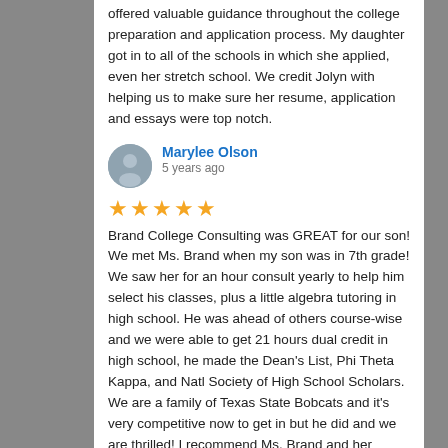offered valuable guidance throughout the college preparation and application process. My daughter got in to all of the schools in which she applied, even her stretch school. We credit Jolyn with helping us to make sure her resume, application and essays were top notch.
Marylee Olson
5 years ago
Brand College Consulting was GREAT for our son!  We met Ms. Brand when my son was in 7th grade!  We saw her for an hour consult yearly to help him select his classes, plus a little algebra tutoring in high school. He was ahead of others course-wise and we were able to get 21 hours dual credit in high school, he made the Dean's List, Phi Theta Kappa, and Natl Society of High School Scholars.  We are a family of Texas State Bobcats and it's very competitive now to get in but he did and we are thrilled!  I recommend Ms. Brand and her services! Marylee Olson, Silverlake, Pearland (Dawson High School)